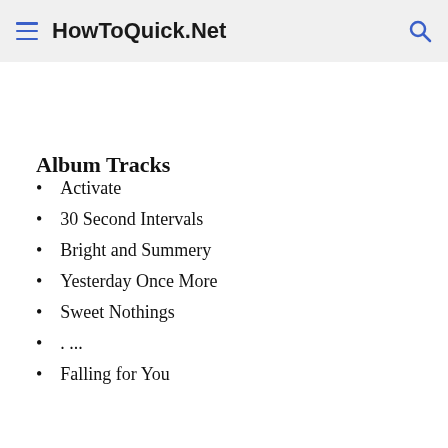HowToQuick.Net
Album Tracks
Activate
30 Second Intervals
Bright and Summery
Yesterday Once More
Sweet Nothings
. ...
Falling for You